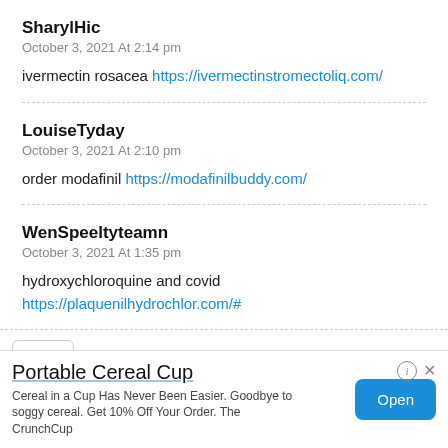SharylHic
October 3, 2021 At 2:14 pm
ivermectin rosacea https://ivermectinstromectoliq.com/
LouiseTyday
October 3, 2021 At 2:10 pm
order modafinil https://modafinilbuddy.com/
WenSpeeltyteamn
October 3, 2021 At 1:35 pm
hydroxychloroquine and covid
https://plaquenilhydrochlor.com/#
Speeltyteamn (partial)
Portable Cereal Cup
Cereal in a Cup Has Never Been Easier. Goodbye to soggy cereal. Get 10% Off Your Order. The CrunchCup